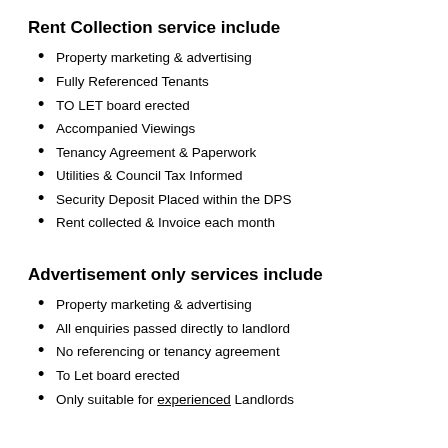Rent Collection service include
Property marketing & advertising
Fully Referenced Tenants
TO LET board erected
Accompanied Viewings
Tenancy Agreement & Paperwork
Utilities & Council Tax Informed
Security Deposit Placed within the DPS
Rent collected & Invoice each month
Advertisement only services include
Property marketing & advertising
All enquiries passed directly to landlord
No referencing or tenancy agreement
To Let board erected
Only suitable for experienced Landlords